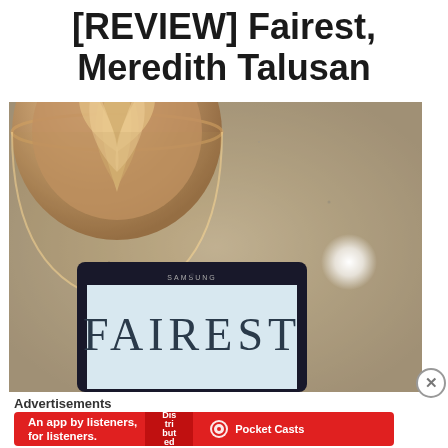[REVIEW] Fairest, Meredith Talusan
[Figure (photo): A coffee cup with latte art on a granite table next to a Samsung tablet/phone displaying the word FAIREST on its screen. A bright light reflection is visible on the table surface.]
Advertisements
[Figure (infographic): Red banner advertisement: An app by listeners, for listeners. Distributed. Pocket Casts logo.]